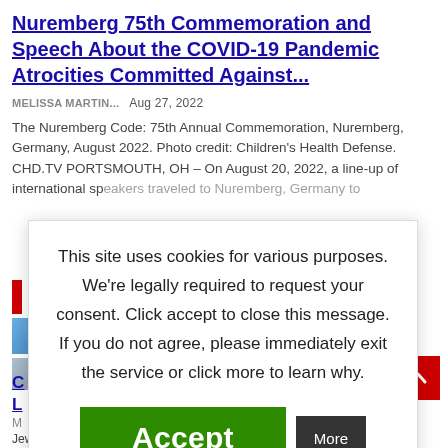Nuremberg 75th Commemoration and Speech About the COVID-19 Pandemic Atrocities Committed Against...
MELISSA MARTIN...   Aug 27, 2022
The Nuremberg Code: 75th Annual Commemoration, Nuremberg, Germany, August 2022. Photo credit: Children's Health Defense. CHD.TV PORTSMOUTH, OH – On August 20, 2022, a line-up of international speakers traveled to Nuremberg, Germany to...
This site uses cookies for various purposes. We're legally required to request your consent. Click accept to close this message. If you do not agree, please immediately exit the service or click more to learn why.
Accept
More
e Radical Far-
L
Yes
Jewish Author David Rubin speaking at an event in Austin, Texas.